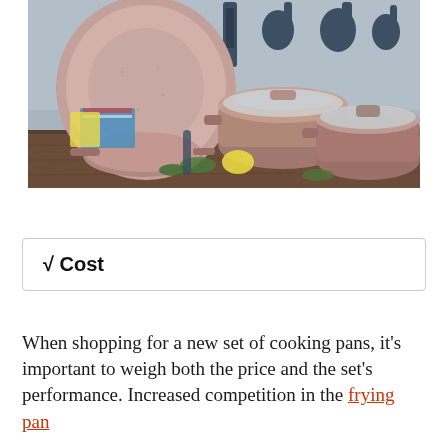[Figure (photo): A set of rose/mauve granite-finish cookware (pots and pans with glass lids and matching handles) arranged on a wooden surface, with a large plate leaning against the back, colorful kitchen towels, herbs, lemons, and dark blue silicone utensils hanging on the wall in the background.]
√ Cost
When shopping for a new set of cooking pans, it's important to weigh both the price and the set's performance. Increased competition in the frying pan